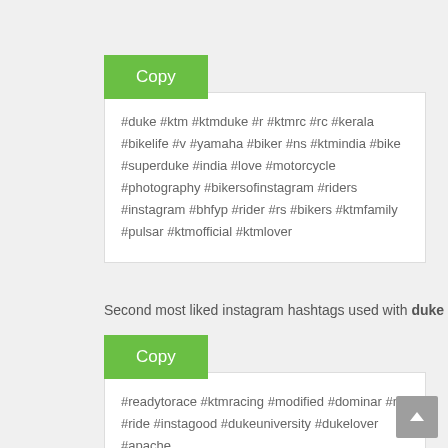Copy
#duke #ktm #ktmduke #r #ktmrc #rc #kerala #bikelife #v #yamaha #biker #ns #ktmindia #bike #superduke #india #love #motorcycle #photography #bikersofinstagram #riders #instagram #bhfyp #rider #rs #bikers #ktmfamily #pulsar #ktmofficial #ktmlover
Second most liked instagram hashtags used with duke
Copy
#readytorace #ktmracing #modified #dominar #mt #ride #instagood #dukeuniversity #dukelover #apache #bajaj #moto #kerastagram #ktmkerala #honda #bikes #rc #dukebasketball #bikergram #yamahar #ktmlove #ktmsuperduke #lover #adventure #superbike #nba #kawasaki #monster #bikersindia #superduke #bike